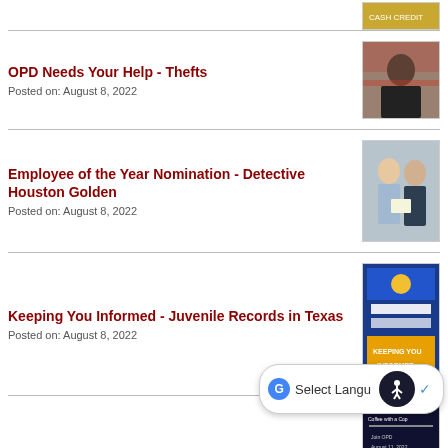[Figure (photo): Partial thumbnail of a previous news item at top of page (cash/card related graphic)]
OPD Needs Your Help - Thefts
Posted on: August 8, 2022
[Figure (photo): Photo of a man standing near a vehicle]
Employee of the Year Nomination - Detective Houston Golden
Posted on: August 8, 2022
[Figure (photo): Photo of two men, one holding a certificate]
Keeping You Informed - Juvenile Records in Texas
Posted on: August 8, 2022
[Figure (photo): Graphic with blue police department branding and Keeping You Informed text]
Coffee with a Cop - Thursday!
Posted on: August 8, 2022
[Figure (photo): Dark blue Coffee with a Cop event flyer]